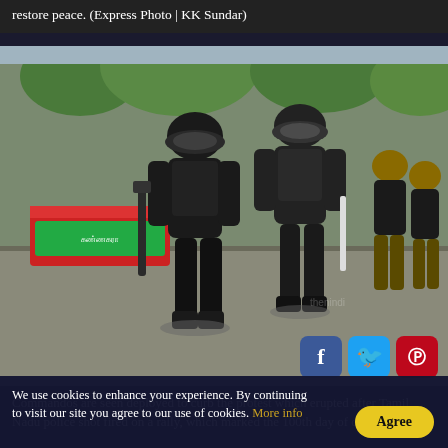restore peace. (Express Photo | KK Sundar)
[Figure (photo): Commandos in black tactical gear and helmets walking on a street, with police officers in background near red barriers and Tamil Nadu signage. Social media share icons (Facebook, Twitter, Pinterest) visible in lower right corner.]
Commandos are seen deployed to curb the protest which erupted after Tamil Nadu police shot fired on a rally, which marked the 100th day of demonstrations
We use cookies to enhance your experience. By continuing to visit our site you agree to our use of cookies. More info